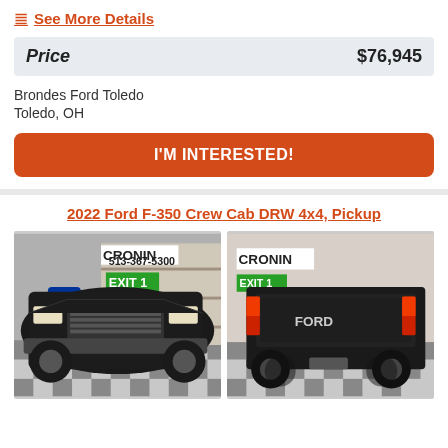See More Details
| Price | $76,945 |
| --- | --- |
Brondes Ford Toledo
Toledo, OH
I'M INTERESTED!
2022 Ford F-350 Crew Cab DRW 4x4, Pickup
[Figure (photo): Front view of a black Ford F-350 truck inside Cronin dealership showroom with EXIT 1 and I-74 signage]
[Figure (photo): Rear view of a black Ford F-350 truck inside Cronin dealership showroom]